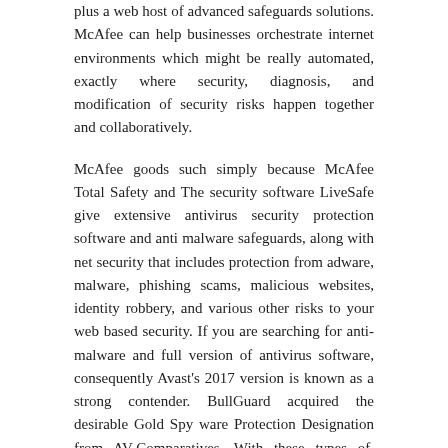plus a web host of advanced safeguards solutions. McAfee can help businesses orchestrate internet environments which might be really automated, exactly where security, diagnosis, and modification of security risks happen together and collaboratively.
McAfee goods such simply because McAfee Total Safety and The security software LiveSafe give extensive antivirus security protection software and anti malware safeguards, along with net security that includes protection from adware, malware, phishing scams, malicious websites, identity robbery, and various other risks to your web based security. If you are searching for anti-malware and full version of antivirus software, consequently Avast's 2017 version is known as a strong contender. BullGuard acquired the desirable Gold Spy ware Protection Designation from AV-Comparatives. With these types of, security computer software won't become qualified to uncover the or spyware prior to sufferer gets that. As an example, a simple keylogger known simply because HawkEye chosen this approach to target small and medium-sized businesses SMBs throughout the world. villa-gaia.com
More common than viruses is going to be malware like Trojans, Red worms, Backdoors, Uses, Adware, and PUP Potentially Unwanted Programs, which may contain interaction customers, remote control desktop computers and code revealers, to name